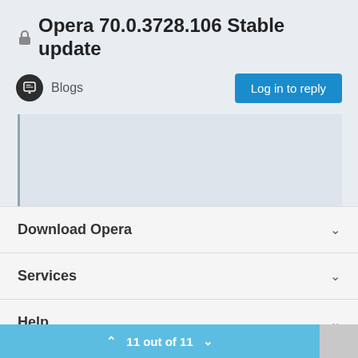🔒Opera 70.0.3728.106 Stable update
Blogs
Log in to reply
Download Opera
Services
Help
Legal
11 out of 11